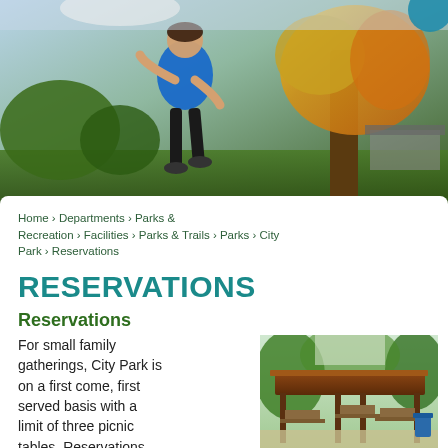[Figure (photo): A person in a blue shirt jogging in a park with autumn-colored trees and greenery in the background]
Home › Departments › Parks & Recreation › Facilities › Parks & Trails › Parks › City Park › Reservations
RESERVATIONS
Reservations
For small family gatherings, City Park is on a first come, first served basis with a limit of three picnic tables. Reservations
[Figure (photo): A park pavilion with a brown roof, picnic tables underneath, and trees in the background]